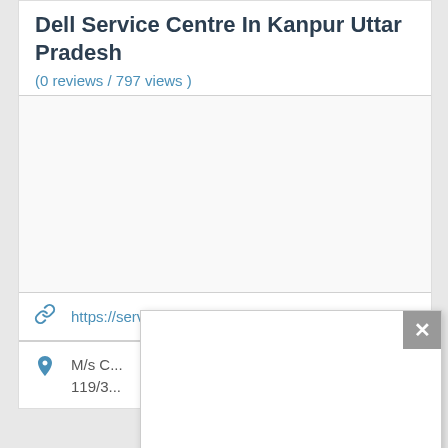Dell Service Centre In Kanpur Uttar Pradesh
(0 reviews / 797 views )
https://servicecentrelist.com/plac...
M/s C...
119/3...
[Figure (screenshot): A popup dialog overlay with a close (X) button in the top-right corner (grey background), an empty white content area, and two control buttons at the bottom: a play button (right-pointing triangle) and a cursor/pointer button.]